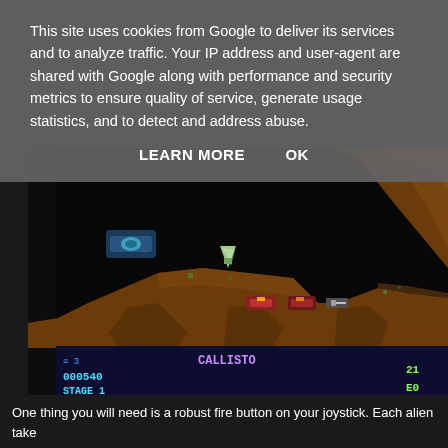This site uses cookies from Google to deliver its services and to analyze traffic. Your IP address and user-agent are shared with Google along with performance and security metrics to ensure quality of service, generate usage statistics, and to detect and address abuse.
LEARN MORE   OK
[Figure (screenshot): Retro video game screenshot showing a side-scrolling platform level with brown rocky terrain, a player ship/character at top, alien enemies on platforms, and a HUD at the bottom showing score 000540, STAGE 1, CALLISTO text, and other game stats.]
One thing you will need is a robust fire button on your joystick. Each alien take